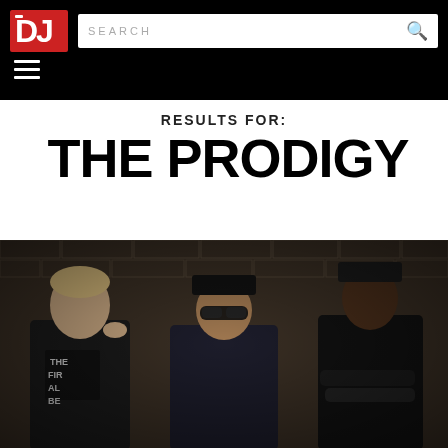DJ Mag — SEARCH
RESULTS FOR:
THE PRODIGY
[Figure (photo): The Prodigy band photo: three members standing against a brick wall in dark clothing. Left member has short blonde hair and leather jacket, middle member wears sunglasses and dark jacket, right member wears a dark cap and has arms crossed.]